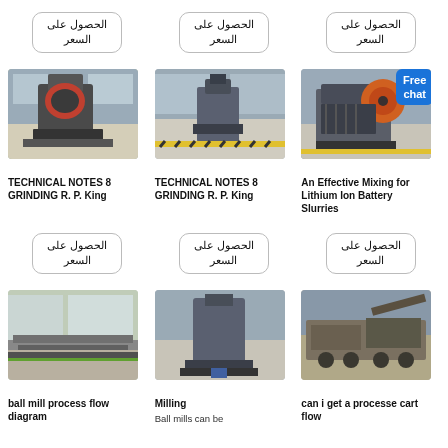[Figure (other): Arabic button 'الحصول على السعر' (Get Price) - top left]
[Figure (other): Arabic button 'الحصول على السعر' (Get Price) - top center]
[Figure (other): Arabic button 'الحصول على السعر' (Get Price) - top right]
[Figure (photo): Industrial grinding/crushing machine in factory]
[Figure (photo): Industrial milling machine in factory]
[Figure (photo): Industrial jaw crusher machine with orange flywheel]
TECHNICAL NOTES 8 GRINDING R. P. King
TECHNICAL NOTES 8 GRINDING R. P. King
An Effective Mixing for Lithium Ion Battery Slurries
[Figure (other): Arabic button 'الحصول على السعر' (Get Price) - mid left]
[Figure (other): Arabic button 'الحصول على السعر' (Get Price) - mid center]
[Figure (other): Arabic button 'الحصول على السعر' (Get Price) - mid right]
[Figure (photo): Ball mill process flow - industrial machinery in factory floor]
[Figure (photo): Milling machine - large industrial vertical mill]
[Figure (photo): Mobile crusher/process cart on outdoor site]
ball mill process flow diagram
Milling
Ball mills can be
can i get a processe cart flow